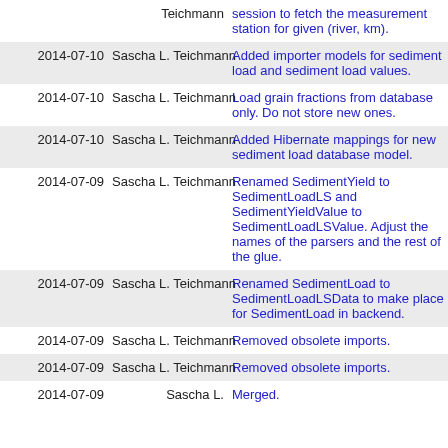| Date | Author | Message |
| --- | --- | --- |
|  | Teichmann | session to fetch the measurement station for given (river, km). |
| 2014-07-10 | Sascha L. Teichmann | Added importer models for sediment load and sediment load values. |
| 2014-07-10 | Sascha L. Teichmann | Load grain fractions from database only. Do not store new ones. |
| 2014-07-10 | Sascha L. Teichmann | Added Hibernate mappings for new sediment load database model. |
| 2014-07-09 | Sascha L. Teichmann | Renamed SedimentYield to SedimentLoadLS and SedimentYieldValue to SedimentLoadLSValue. Adjust the names of the parsers and the rest of the glue. |
| 2014-07-09 | Sascha L. Teichmann | Renamed SedimentLoad to SedimentLoadLSData to make place for SedimentLoad in backend. |
| 2014-07-09 | Sascha L. Teichmann | Removed obsolete imports. |
| 2014-07-09 | Sascha L. Teichmann | Removed obsolete imports. |
| 2014-07-09 | Sascha L. | Merged. |